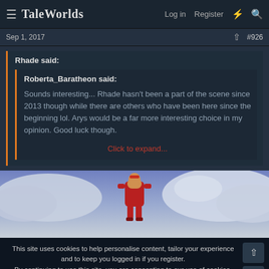TaleWorlds  Log in  Register
Sep 1, 2017  #926
Rhade said:
Roberta_Baratheon said:
Sounds interesting... Rhade hasn't been a part of the scene since 2013 though while there are others who have been here since the beginning lol. Arys would be a far more interesting choice in my opinion. Good luck though.
Click to expand...
[Figure (screenshot): Game screenshot showing a character in red armor standing against a blue sky with clouds]
This site uses cookies to help personalise content, tailor your experience and to keep you logged in if you register. By continuing to use this site, you are consenting to our use of cookies.
✓ Accept  Learn more...